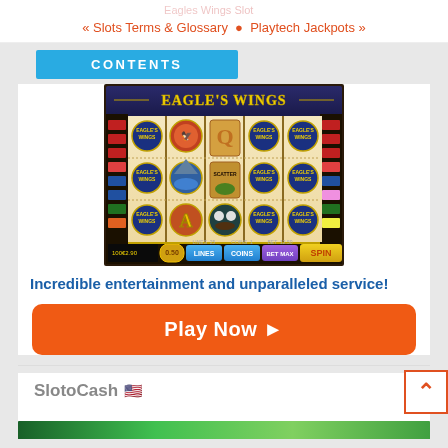« Slots Terms & Glossary  ● Playtech Jackpots »
CONTENTS
[Figure (screenshot): Eagle's Wings slot machine game screenshot showing 5-reel slot with Eagle's Wings symbols, Q card symbol, Scatter symbol, eagle, and other symbols. Bottom controls show LINES, COINS, BET MAX buttons and SPIN button in yellow.]
Incredible entertainment and unparalleled service!
Play Now ▶
SlotoCash 🇺🇸